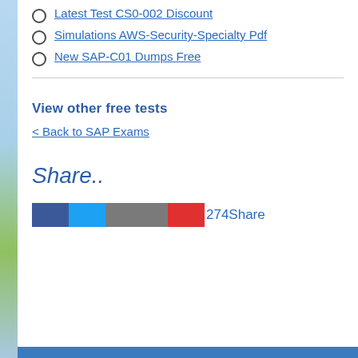Latest Test CS0-002 Discount
Simulations AWS-Security-Specialty Pdf
New SAP-C01 Dumps Free
View other free tests
< Back to SAP Exams
Share..
[Figure (other): Social share buttons row: Facebook (dark blue), Twitter (light blue), LinkedIn/other (gray), Pinterest (red/orange), followed by share count '274Share']